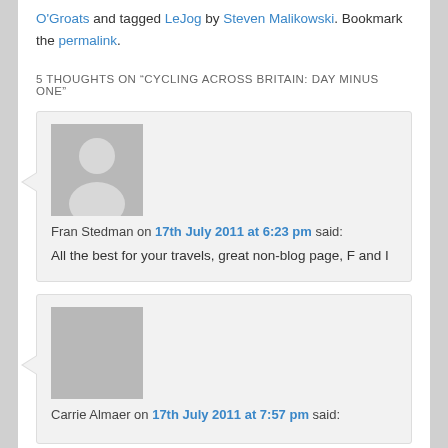O'Groats and tagged LeJog by Steven Malikowski. Bookmark the permalink.
5 THOUGHTS ON "CYCLING ACROSS BRITAIN: DAY MINUS ONE"
Fran Stedman on 17th July 2011 at 6:23 pm said: All the best for your travels, great non-blog page, F and I
Carrie Almaer on 17th July 2011 at 7:57 pm said: